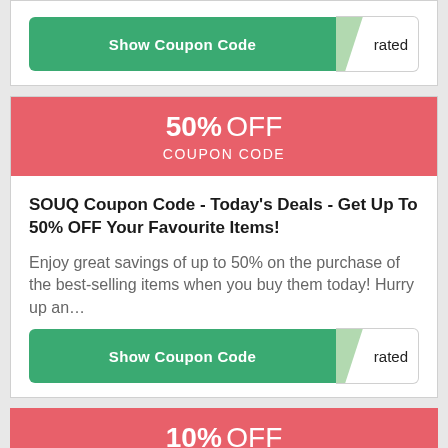[Figure (screenshot): Show Coupon Code button with green background and 'rated' label on white right side]
[Figure (infographic): Red banner showing 50% OFF COUPON CODE]
SOUQ Coupon Code - Today's Deals - Get Up To 50% OFF Your Favourite Items!
Enjoy great savings of up to 50% on the purchase of the best-selling items when you buy them today! Hurry up an…
[Figure (screenshot): Show Coupon Code button with green background and 'rated' label on white right side]
[Figure (infographic): Red banner showing 10% OFF (partial, bottom of page)]